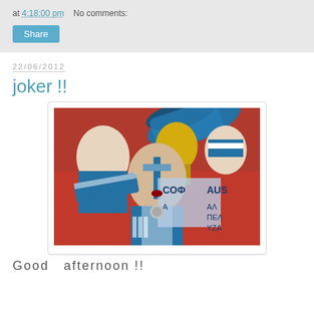at 4:18:00 pm   No comments:
Share
22/06/2012
joker !!
[Figure (photo): Greek football fans in the stands, one man with face painted blue and white in Greek flag colors, wearing a Greece jersey, cheering; others behind holding scarves and wearing Spartan helmets; banners visible.]
Good   afternoon !!